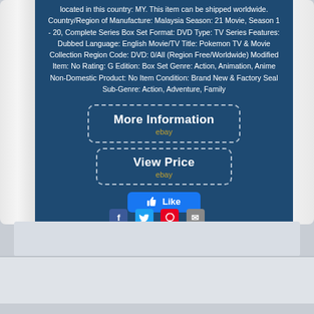located in this country: MY. This item can be shipped worldwide. Country/Region of Manufacture: Malaysia Season: 21 Movie, Season 1 - 20, Complete Series Box Set Format: DVD Type: TV Series Features: Dubbed Language: English Movie/TV Title: Pokemon TV & Movie Collection Region Code: DVD: 0/All (Region Free/Worldwide) Modified Item: No Rating: G Edition: Box Set Genre: Action, Animation, Anime Non-Domestic Product: No Item Condition: Brand New & Factory Seal Sub-Genre: Action, Adventure, Family
[Figure (screenshot): More Information button with dashed border and ebay label]
[Figure (screenshot): View Price button with dashed border and ebay label]
[Figure (screenshot): Facebook Like button in blue]
[Figure (screenshot): Social sharing icons: Facebook, Twitter, Pinterest, Email]
[Figure (screenshot): Search bar at bottom of page]